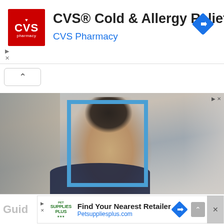[Figure (screenshot): CVS Pharmacy advertisement banner with red CVS logo, title 'CVS® Cold & Allergy Relief', subtitle 'CVS Pharmacy' in blue, and a blue navigation arrow icon on the right]
CVS® Cold & Allergy Relief
CVS Pharmacy
[Figure (photo): Photo of a smiling young woman with dark hair, wearing a dark polka dot top, with a blue rectangular frame overlay on her face, set against a blurred indoor background]
[Figure (screenshot): Bottom advertisement banner: Pet Supplies Plus logo, 'Find Your Nearest Retailer', 'Petsuppliesplus.com' in blue, navigation arrow, and a close button]
Find Your Nearest Retailer
Petsuppliesplus.com